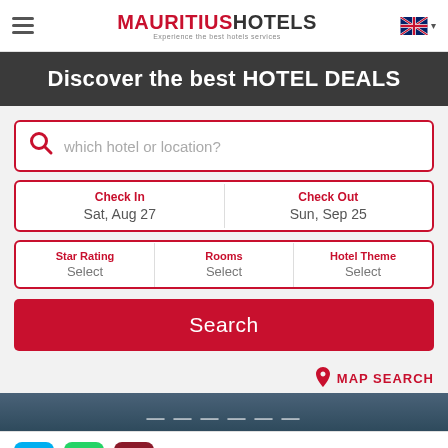MAURITIUS HOTELS — Experience the best hotels services
Discover the best HOTEL DEALS
which hotel or location?
Check In: Sat, Aug 27 | Check Out: Sun, Sep 25
Star Rating: Select | Rooms: Select | Hotel Theme: Select
Search
MAP SEARCH
Need help with booking? Call us (+230) 269 1600